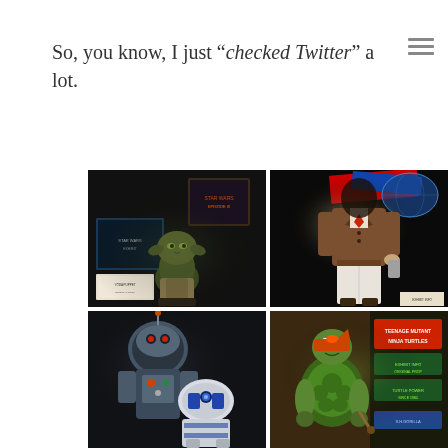So, you know, I just “checked Twitter” a lot.
[Figure (photo): Museum exhibit photo showing Yoda puppet/bust on display with Star Wars movie posters in dark exhibit hall]
[Figure (photo): Museum exhibit photo showing a mannequin in historical military/period costume under spotlight, with 1938 banner visible]
[Figure (photo): Museum exhibit photo showing robot figure with R2-D2 visible in dark exhibit space]
[Figure (photo): Museum exhibit photo showing Teenage Mutant Ninja Turtle character figure with exhibit signage in background]